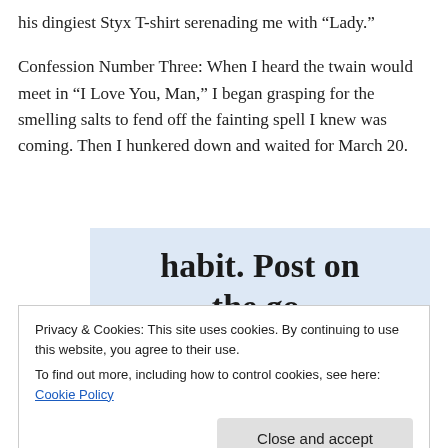his dingiest Styx T-shirt serenading me with “Lady.”
Confession Number Three: When I heard the twain would meet in “I Love You, Man,” I began grasping for the smelling salts to fend off the fainting spell I knew was coming. Then I hunkered down and waited for March 20.
[Figure (other): WordPress app advertisement banner with text 'habit. Post on the go.' and 'GET THE APP' with WordPress logo]
Privacy & Cookies: This site uses cookies. By continuing to use this website, you agree to their use.
To find out more, including how to control cookies, see here: Cookie Policy
Close and accept